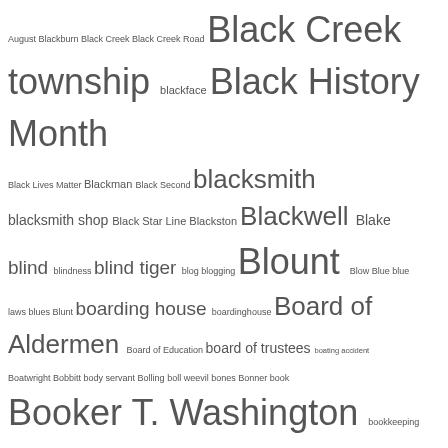August Blackburn Black Creek Black Creek Road Black Creek township blackface Black History Month Black Lives Matter Blackman Black Second blacksmith blacksmith shop Black Star Line Blackston Blackwell Blake blind blindness blind tiger blog blogging Blount Blow Blue blue laws blues Blunt boarding house boardinghouse Board of Aldermen Board of Education board of trustees boating accident Boatwright Bobbitt body servant Bolling boll weevil bones Bonner book Booker T. Washington bookkeeping bookmobile book review Boone boosterism bootblack bootlegging Borden Boseman Bostick bottling plant Bowden Bowens Bowers Bowling Bowman Bowser boxer boxing boycott Boyd Boyette Boykin Boykins Boylan Boys Club Boy Scouts Boys State Brailey brain disease brakeman Branch Brandon Branford Brantley Braswell breach of contract breaking and entering Brewer Brewington bricklayer brickmason bridge Bridgers Bridges Briggs Hotel Bright Brinkley Britton Broadway Brockington Brodie Bronze Star Brooks brother brothers Brown Brownrigg Bruce Bryant